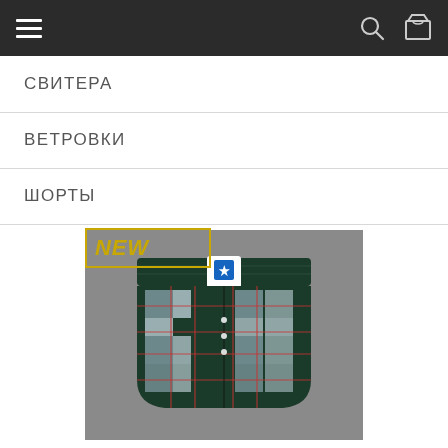Navigation bar with hamburger menu, search icon, and cart icon
СВИТЕРА
ВЕТРОВКИ
ШОРТЫ
[Figure (photo): Plaid boxer shorts with dark green waistband and a blue star logo patch, on a grey background. A 'NEW' badge overlay in gold/yellow border is shown at the top left of the image.]